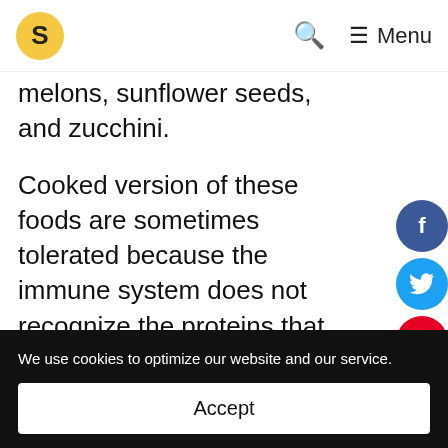S [logo] 🔍 ≡ Menu
melons, sunflower seeds, and zucchini.
Cooked version of these foods are sometimes tolerated because the immune system does not recognize the proteins that have become altered in the cooking process.
Pollen Food Allergy Syndrome
We use cookies to optimize our website and our service.
Accept